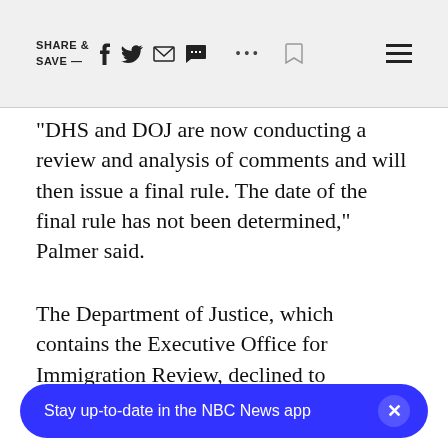SHARE & SAVE —  [social icons]  [hamburger menu]
"DHS and DOJ are now conducting a review and analysis of comments and will then issue a final rule. The date of the final rule has not been determined," Palmer said.
The Department of Justice, which contains the Executive Office for Immigration Review, declined to comment.
LGBTQ immigration advocates like Katie Sgarro, co-founder and pre[sident of] digital platform where LGBTQ
[Figure (screenshot): NBC News app promotional banner at the bottom of the page: 'Stay up-to-date in the NBC News app' with a close (×) button, blue background, white text.]